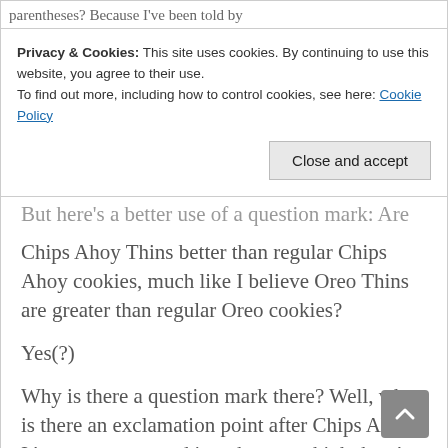parentheses? Because I've been told by
Privacy & Cookies: This site uses cookies. By continuing to use this website, you agree to their use.
To find out more, including how to control cookies, see here: Cookie Policy
But here's a better use of a question mark: Are Chips Ahoy Thins better than regular Chips Ahoy cookies, much like I believe Oreo Thins are greater than regular Oreo cookies?
Yes(?)
Why is there a question mark there? Well, why is there an exclamation point after Chips Ahoy? It's unnecessary and it makes you think there's more to it than there really is, but there isn't.